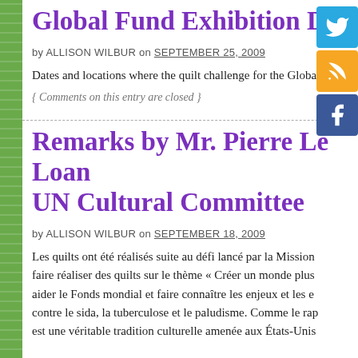Global Fund Exhibition Dat...
by ALLISON WILBUR on SEPTEMBER 25, 2009
Dates and locations where the quilt challenge for the Global...
{ Comments on this entry are closed }
Remarks by Mr. Pierre Le Loan... UN Cultural Committee
by ALLISON WILBUR on SEPTEMBER 18, 2009
Les quilts ont été réalisés suite au défi lancé par la Mission... faire réaliser des quilts sur le thème « Créer un monde plus... aider le Fonds mondial et faire connaître les enjeux et les e... contre le sida, la tuberculose et le paludisme. Comme le rap... est une véritable tradition culturelle amenée aux États-Unis...